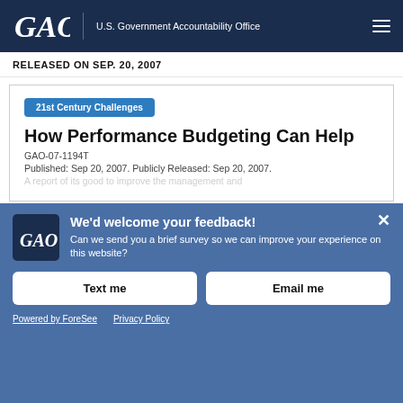GAO U.S. Government Accountability Office
RELEASED ON SEP. 20, 2007
21st Century Challenges
How Performance Budgeting Can Help
GAO-07-1194T
Published: Sep 20, 2007. Publicly Released: Sep 20, 2007.
We'd welcome your feedback! Can we send you a brief survey so we can improve your experience on this website?
Text me
Email me
Powered by ForeSee
Privacy Policy